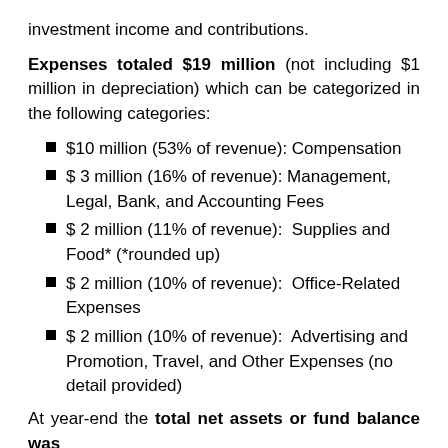investment income and contributions.
Expenses totaled $19 million (not including $1 million in depreciation) which can be categorized in the following categories:
$10 million (53% of revenue): Compensation
$ 3 million (16% of revenue): Management, Legal, Bank, and Accounting Fees
$ 2 million (11% of revenue):  Supplies and Food* (*rounded up)
$ 2 million (10% of revenue):  Office-Related Expenses
$ 2 million (10% of revenue):  Advertising and Promotion, Travel, and Other Expenses (no detail provided)
At year-end the total net assets or fund balance was